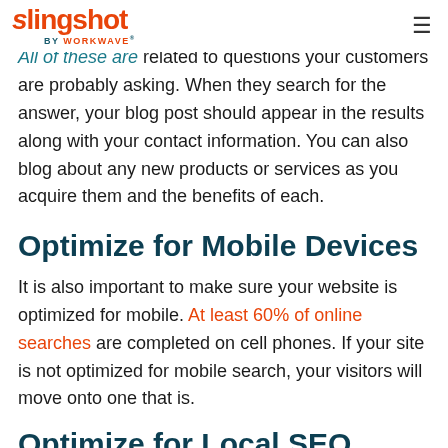slingshot by WORKWAVE
All of these are related to questions your customers are probably asking. When they search for the answer, your blog post should appear in the results along with your contact information. You can also blog about any new products or services as you acquire them and the benefits of each.
Optimize for Mobile Devices
It is also important to make sure your website is optimized for mobile. At least 60% of online searches are completed on cell phones. If your site is not optimized for mobile search, your visitors will move onto one that is.
Optimize for Local SEO